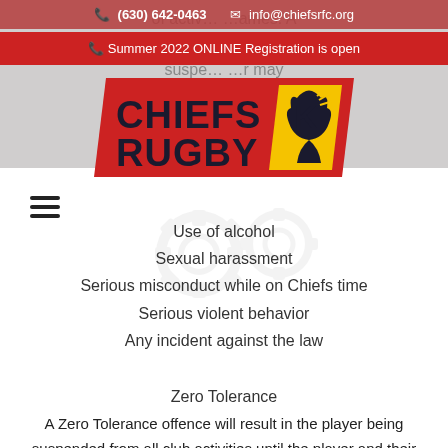(630) 642-0463  info@chiefsrfc.org
Summer 2022 ONLINE Registration is open
[Figure (logo): Chiefs Rugby logo — red parallelogram background with 'CHIEFS RUGBY' text in dark blue/black and a yellow warrior head graphic]
Use of alcohol
Sexual harassment
Serious misconduct while on Chiefs time
Serious violent behavior
Any incident against the law
Zero Tolerance
A Zero Tolerance offence will result in the player being suspended from all club activities until the player and their parents/guardians meet with the discipline committee and the committee renders a decision.